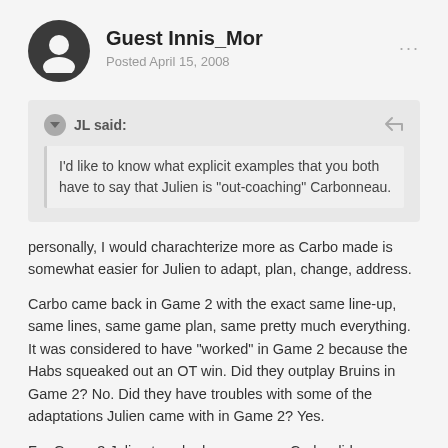Guest Innis_Mor
Posted April 15, 2008
JL said:
I'd like to know what explicit examples that you both have to say that Julien is "out-coaching" Carbonneau.
personally, I would charachterize more as Carbo made is somewhat easier for Julien to adapt, plan, change, address.
Carbo came back in Game 2 with the exact same line-up, same lines, same game plan, same pretty much everything. It was considered to have "worked" in Game 2 because the Habs squeaked out an OT win. Did they outplay Bruins in Game 2? No. Did they have troubles with some of the adaptations Julien came with in Game 2? Yes.
For Game 3 Julien tweaked some more; Carbo did somewhere around nothing (as the Habs did not lose Game 2). Game 3 result, well, we all know. Now, I am not saying it is all Carbo's fault.